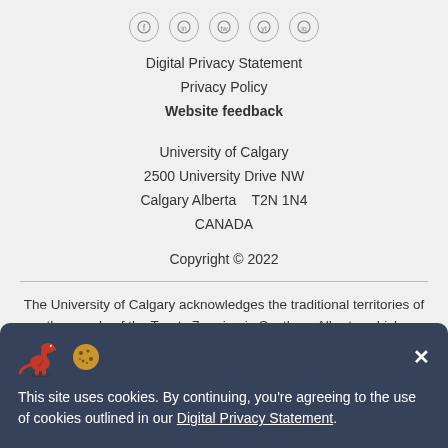[Figure (other): Row of circular social media / navigation icons at the top]
Digital Privacy Statement
Privacy Policy
Website feedback
University of Calgary
2500 University Drive NW
Calgary Alberta   T2N 1N4
CANADA
Copyright © 2022
The University of Calgary acknowledges the traditional territories of the people of the Treaty 7 region in Southern Alberta, which includes the Blackfoot Confederacy (comprised of the Siksika, Piikani, and Kainai First
This site uses cookies. By continuing, you're agreeing to the use of cookies outlined in our Digital Privacy Statement.